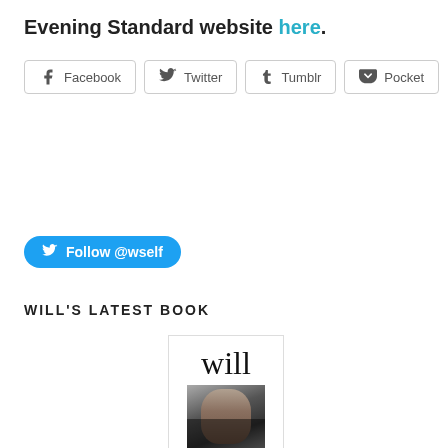Evening Standard website here.
[Figure (other): Social share buttons: Facebook, Twitter, Tumblr, Pocket]
[Figure (other): Twitter Follow button: Follow @wself]
WILL'S LATEST BOOK
[Figure (photo): Book cover showing the word 'will' in large serif font with a black and white photo of a man below it]